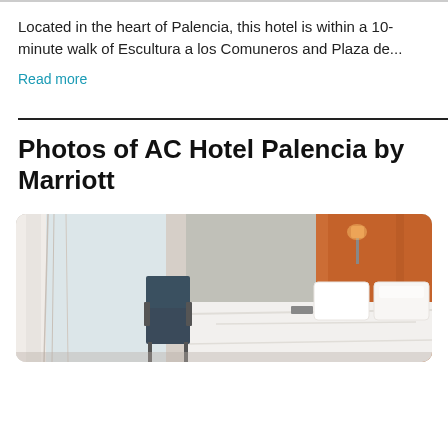Located in the heart of Palencia, this hotel is within a 10-minute walk of Escultura a los Comuneros and Plaza de...
Read more
Photos of AC Hotel Palencia by Marriott
[Figure (photo): Hotel room interior with orange/wood headboard, white pillows and bedding, lamp on wall mount, and chair visible on left side. Modern, clean aesthetic.]